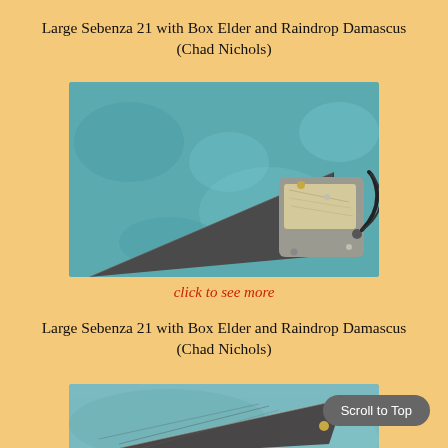Large Sebenza 21 with Box Elder and Raindrop Damascus (Chad Nichols)
[Figure (photo): Photograph of a Large Sebenza 21 folding knife with Box Elder wood inlay handle and Raindrop Damascus blade, on a blue background]
click to see more
Large Sebenza 21 with Box Elder and Raindrop Damascus (Chad Nichols)
[Figure (photo): Close-up photograph of a Large Sebenza 21 folding knife blade, partially visible, on a gray/blue background]
Scroll to Top